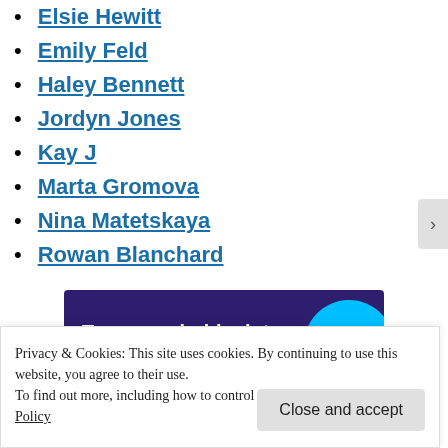Elsie Hewitt
Emily Feld
Haley Bennett
Jordyn Jones
Kay J
Marta Gromova
Nina Matetskaya
Rowan Blanchard
[Figure (infographic): Advertisement banner: dark purple background with cyan circle, text reads 'Turn your hobby into a business in 8 steps']
Privacy & Cookies: This site uses cookies. By continuing to use this website, you agree to their use.
To find out more, including how to control cookies, see here: Cookie Policy